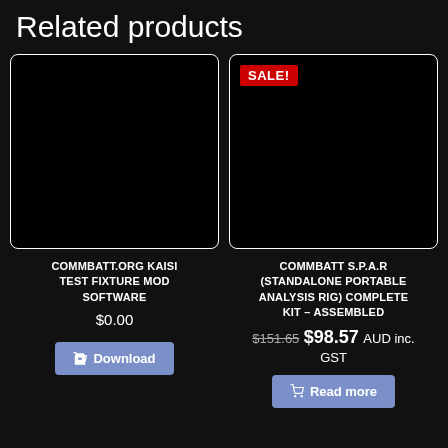Related products
[Figure (other): Black product image placeholder for COMMBATT.ORG KAISI TEST FIXTURE MOD SOFTWARE]
COMMBATT.ORG KAISI TEST FIXTURE MOD SOFTWARE
$0.00
Download
[Figure (other): Black product image placeholder with SALE! badge for COMMBATT S.P.A.R (STANDALONE PORTABLE ANALYSIS RIG) COMPLETE KIT – ASSEMBLED]
COMMBATT S.P.A.R (STANDALONE PORTABLE ANALYSIS RIG) COMPLETE KIT – ASSEMBLED
$151.65 $98.57 AUD inc. GST
Read more